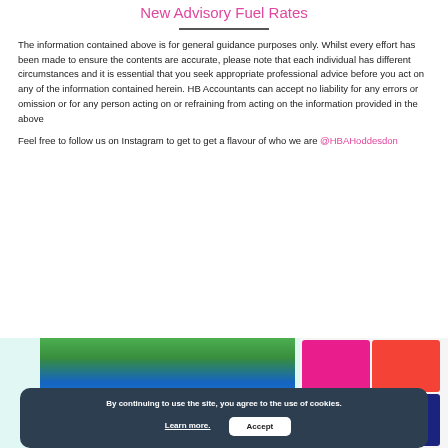New Advisory Fuel Rates
The information contained above is for general guidance purposes only. Whilst every effort has been made to ensure the contents are accurate, please note that each individual has different circumstances and it is essential that you seek appropriate professional advice before you act on any of the information contained herein. HB Accountants can accept no liability for any errors or omission or for any person acting on or refraining from acting on the information provided in the above
Feel free to follow us on Instagram to get to get a flavour of who we are @HBAHoddesdon
[Figure (photo): Instagram image collage showing people and branded content for HB Accountants Hoddesdon]
By continuing to use the site, you agree to the use of cookies. Learn more. Accept